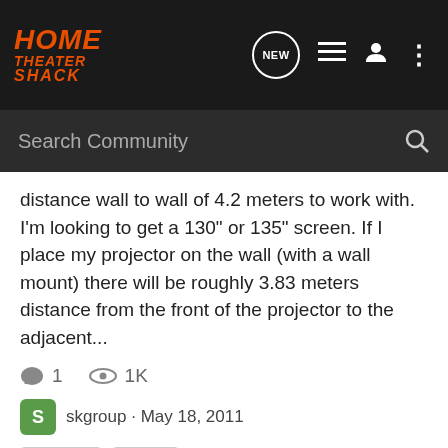HOME THEATER SHACK
distance wall to wall of 4.2 meters to work with. I'm looking to get a 130" or 135" screen. If I place my projector on the wall (with a wall mount) there will be roughly 3.83 meters distance from the front of the projector to the adjacent...
1  1K
skgroup · May 18, 2011
distance  throw
Screen size vs Throw distance
Home Theater Projectors
Hi There I did a small Home theater setup in my home, and my friend likes it very much and asked me to help him do one at his home. I have a few questions about which